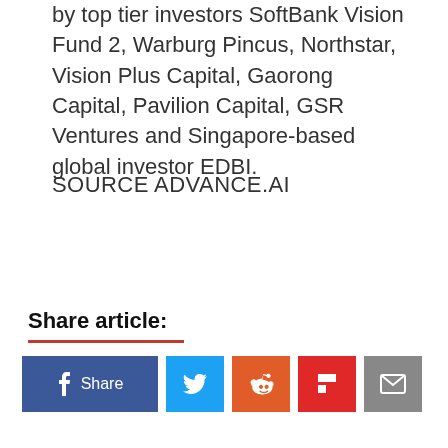by top tier investors SoftBank Vision Fund 2, Warburg Pincus, Northstar, Vision Plus Capital, Gaorong Capital, Pavilion Capital, GSR Ventures and Singapore-based global investor EDBI.
SOURCE ADVANCE.AI
Share article:
[Figure (other): Social share buttons: Facebook Share, Twitter, Reddit, Flipboard, Email]